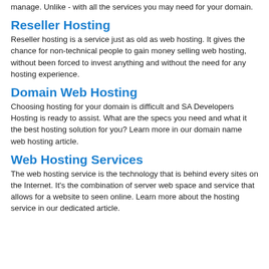manage. Unlike - with all the services you may need for your domain.
Reseller Hosting
Reseller hosting is a service just as old as web hosting. It gives the chance for non-technical people to gain money selling web hosting, without been forced to invest anything and without the need for any hosting experience.
Domain Web Hosting
Choosing hosting for your domain is difficult and SA Developers Hosting is ready to assist. What are the specs you need and what it the best hosting solution for you? Learn more in our domain name web hosting article.
Web Hosting Services
The web hosting service is the technology that is behind every sites on the Internet. It's the combination of server web space and service that allows for a website to seen online. Learn more about the hosting service in our dedicated article.